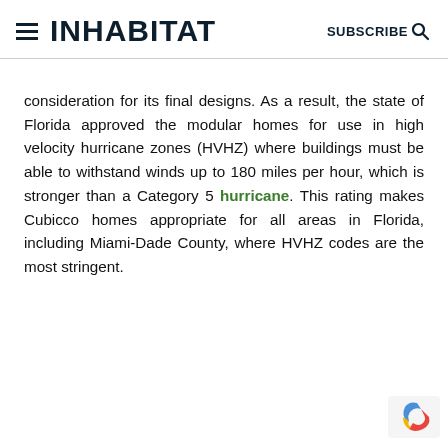INHABITAT | SUBSCRIBE
consideration for its final designs. As a result, the state of Florida approved the modular homes for use in high velocity hurricane zones (HVHZ) where buildings must be able to withstand winds up to 180 miles per hour, which is stronger than a Category 5 hurricane. This rating makes Cubicco homes appropriate for all areas in Florida, including Miami-Dade County, where HVHZ codes are the most stringent.